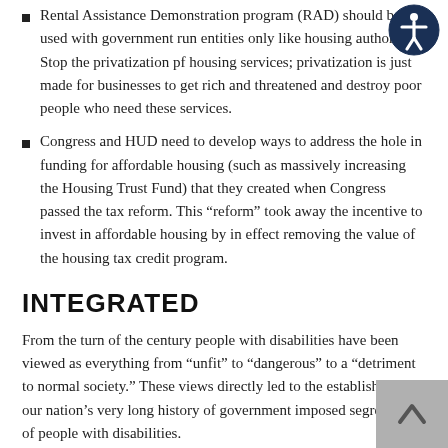Rental Assistance Demonstration program (RAD) should be used with government run entities only like housing authorities. Stop the privatization pf housing services; privatization is just made for businesses to get rich and threatened and destroy poor people who need these services.
Congress and HUD need to develop ways to address the hole in funding for affordable housing (such as massively increasing the Housing Trust Fund) that they created when Congress passed the tax reform. This “reform” took away the incentive to invest in affordable housing by in effect removing the value of the housing tax credit program.
INTEGRATED
From the turn of the century people with disabilities have been viewed as everything from “unfit” to “dangerous” to a “detriment to normal society.” These views directly led to the establishment of our nation’s very long history of government imposed segregation of people with disabilities.
The housing options in this system of imposed segregation are